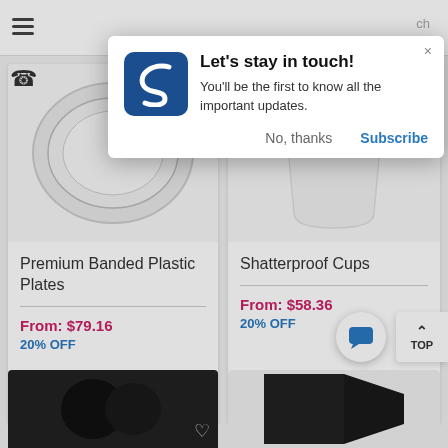[Figure (screenshot): Website popup notification dialog with logo, title 'Let's stay in touch!', body text, and Subscribe/No thanks buttons overlaid on a shopping website showing product cards for plastic plates and shatterproof cups]
Let's stay in touch!
You'll be the first to know all the important updates.
No, thanks
Subscribe
Premium Banded Plastic Plates
From: $79.16
20% OFF
Shatterproof Cups
From: $58.36
20% OFF